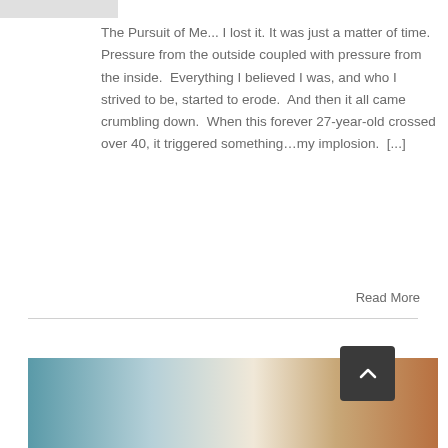[Figure (other): Gray thumbnail image placeholder in top left corner]
The Pursuit of Me... I lost it. It was just a matter of time.  Pressure from the outside coupled with pressure from the inside.  Everything I believed I was, and who I strived to be, started to erode.  And then it all came crumbling down.  When this forever 27-year-old crossed over 40, it triggered something…my implosion.  [...]
Read More
[Figure (photo): Landscape photo with teal and warm tones, partially obscured by a back-to-top button]